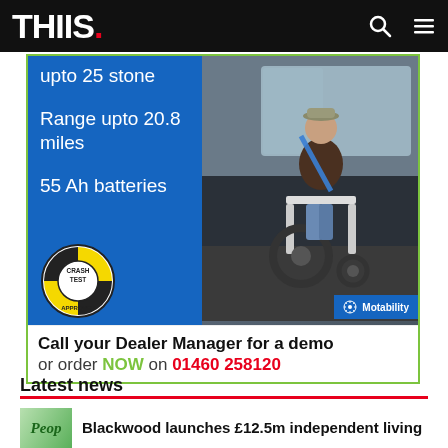THIIS.
[Figure (photo): Advertisement for a power wheelchair with Motability approval. Blue panel on left reads 'upto 25 stone', 'Range upto 20.8 miles', '55 Ah batteries', with a Crash Test Approved logo. Right side shows a man seated in a power wheelchair inside a vehicle. Bottom shows 'Motability' badge. Call to action: 'Call your Dealer Manager for a demo or order NOW on 01460 258120']
Latest news
Blackwood launches £12.5m independent living